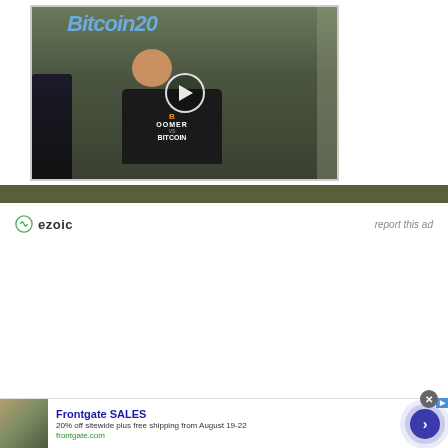[Figure (screenshot): Video thumbnail showing a man wearing a 'Boomer vs Bitcoin' t-shirt at what appears to be a Bitcoin 2022 conference, with a play button overlay. Another person visible in background on left.]
[Figure (logo): Ezoic logo with green circular icon and bold 'ezoic' wordmark]
report this ad
[Figure (screenshot): Advertisement for Frontgate SALES showing outdoor furniture with a fire pit]
Frontgate SALES
20% off sitewide plus free shipping from August 19-22
frontgate.com